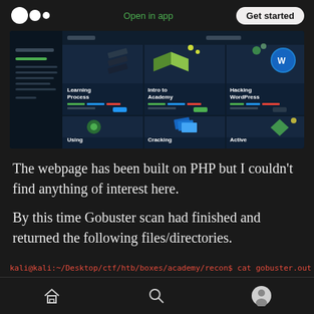Medium logo | Open in app | Get started
[Figure (screenshot): Screenshot of a cybersecurity academy platform showing course tiles: Learning Process, Intro to Academy, Hacking WordPress, Using, Cracking, Active — on a dark navy background with green and blue accents]
The webpage has been built on PHP but I couldn't find anything of interest here.
By this time Gobuster scan had finished and returned the following files/directories.
kali@kali:~/Desktop/ctf/htb/boxes/academy/recon$ cat gobuster.out
Home | Search | Profile